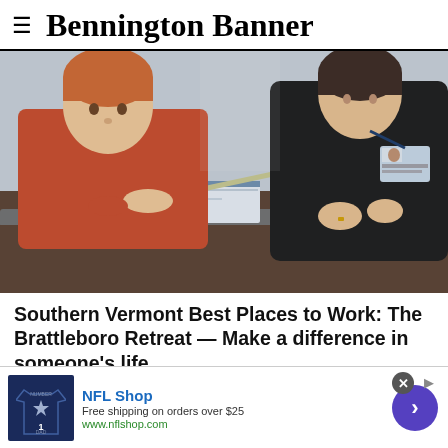≡ Bennington Banner
[Figure (photo): A young boy in a red shirt and an adult woman in black looking at a book together on a desk. The woman has a badge/lanyard.]
Southern Vermont Best Places to Work: The Brattleboro Retreat — Make a difference in someone's life
BRATTLEBORO — If you want to make a difference in someone's life, then a job at the Brattleboro Retreat is right for you.
[Figure (infographic): NFL Shop advertisement banner. Shows a Dallas Cowboys jersey with number 1, text 'NFL Shop', 'Free shipping on orders over $25', 'www.nflshop.com', and a purple circle button with right arrow.]